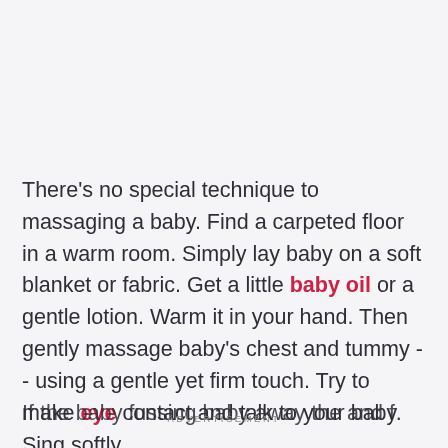There's no special technique to massaging a baby. Find a carpeted floor in a warm room. Simply lay baby on a soft blanket or fabric. Get a little baby oil or a gentle lotion. Warm it in your hand. Then gently massage baby's chest and tummy -- using a gentle yet firm touch. Try to make eye contact and talk to your baby. Sing softly.
If the baby fussing baby away the and f
ADVERTISEMENT